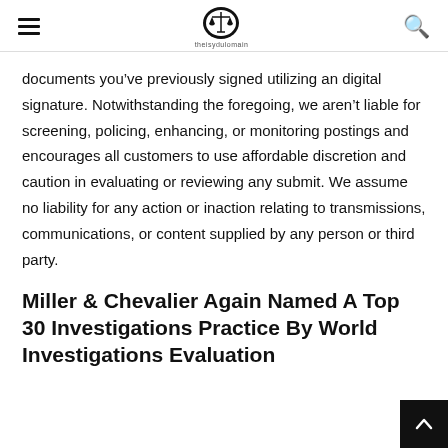theisydulomain (logo/site header with hamburger menu and search icon)
documents you've previously signed utilizing an digital signature. Notwithstanding the foregoing, we aren't liable for screening, policing, enhancing, or monitoring postings and encourages all customers to use affordable discretion and caution in evaluating or reviewing any submit. We assume no liability for any action or inaction relating to transmissions, communications, or content supplied by any person or third party.
Miller & Chevalier Again Named A Top 30 Investigations Practice By World Investigations Evaluation